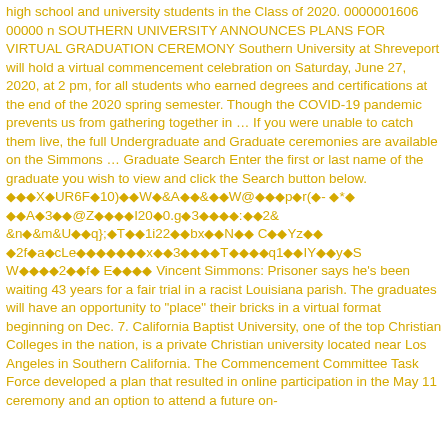high school and university students in the Class of 2020. 0000001606 00000 n SOUTHERN UNIVERSITY ANNOUNCES PLANS FOR VIRTUAL GRADUATION CEREMONY Southern University at Shreveport will hold a virtual commencement celebration on Saturday, June 27, 2020, at 2 pm, for all students who earned degrees and certifications at the end of the 2020 spring semester. Though the COVID-19 pandemic prevents us from gathering together in … If you were unable to catch them live, the full Undergraduate and Graduate ceremonies are available on the Simmons … Graduate Search Enter the first or last name of the graduate you wish to view and click the Search button below. ◆◆◆X◆UR6F◆10)◆◆W◆&A◆◆&◆◆W@◆◆◆p◆r(◆- ◆*◆ ◆◆A◆3◆◆@Z◆◆◆◆I20◆0.g◆3◆◆◆◆:◆◆2& &n◆&m&U◆◆q};◆T◆◆1i22◆◆bx◆◆N◆◆ C◆◆Yz◆◆ ◆2f◆a◆cLe◆◆◆◆◆◆◆x◆◆3◆◆◆◆T◆◆◆◆q1◆◆IY◆◆y◆S W◆◆◆◆2◆◆f◆ E◆◆◆◆ Vincent Simmons: Prisoner says he's been waiting 43 years for a fair trial in a racist Louisiana parish. The graduates will have an opportunity to "place" their bricks in a virtual format beginning on Dec. 7. California Baptist University, one of the top Christian Colleges in the nation, is a private Christian university located near Los Angeles in Southern California. The Commencement Committee Task Force developed a plan that resulted in online participation in the May 11 ceremony and an option to attend a future on-